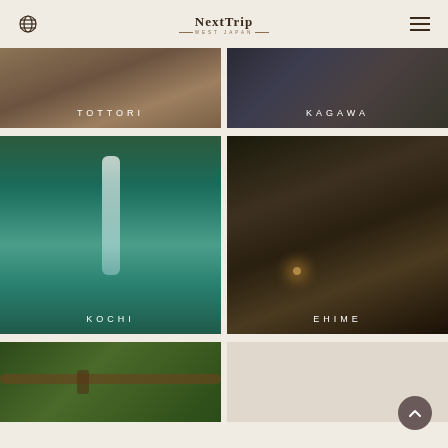NextTrip WEST JAPAN
[Figure (photo): TOTTORI prefecture thumbnail - warm brown tones]
[Figure (photo): KAGAWA prefecture thumbnail - dark urban street scene]
[Figure (photo): KOCHI prefecture thumbnail - waterfall with turquoise water]
[Figure (photo): EHIME prefecture thumbnail - traditional Japanese building at night]
[Figure (photo): Bottom left thumbnail - bamboo/rope in green forest]
[Figure (photo): Bottom right thumbnail - partially visible]